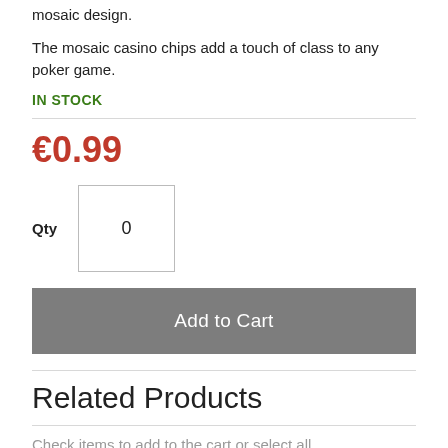mosaic design.
The mosaic casino chips add a touch of class to any poker game.
IN STOCK
€0.99
Qty  0
Add to Cart
Related Products
Check items to add to the cart or select all